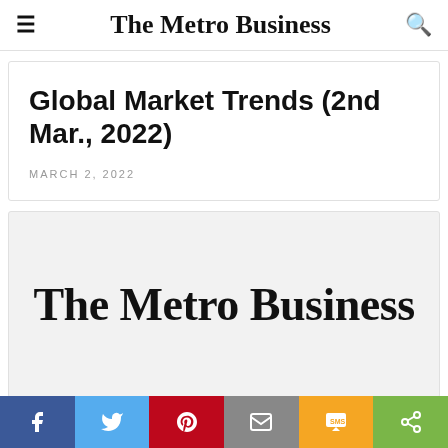The Metro Business
Global Market Trends (2nd Mar., 2022)
MARCH 2, 2022
[Figure (logo): The Metro Business logo in large bold serif font on a light gray background]
Social share bar: Facebook, Twitter, Pinterest, Email, SMS, Share